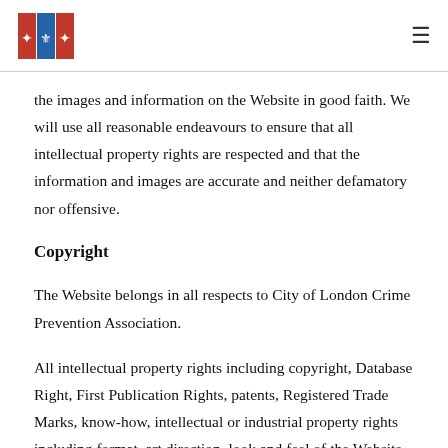[City of London Crime Prevention Association logo] [hamburger menu]
the images and information on the Website in good faith. We will use all reasonable endeavours to ensure that all intellectual property rights are respected and that the information and images are accurate and neither defamatory nor offensive.
Copyright
The Website belongs in all respects to City of London Crime Prevention Association.
All intellectual property rights including copyright, Database Right, First Publication Rights, patents, Registered Trade Marks, know-how, intellectual or industrial property rights including format, art direction, look and feel of the Website and its content subsisting…